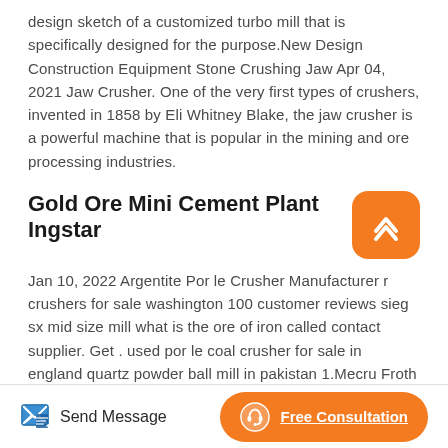design sketch of a customized turbo mill that is specifically designed for the purpose.New Design Construction Equipment Stone Crushing Jaw Apr 04, 2021 Jaw Crusher. One of the very first types of crushers, invented in 1858 by Eli Whitney Blake, the jaw crusher is a powerful machine that is popular in the mining and ore processing industries.
Gold Ore Mini Cement Plant Ingstar
Jan 10, 2022 Argentite Por le Crusher Manufacturer r crushers for sale washington 100 customer reviews sieg sx mid size mill what is the ore of iron called contact supplier. Get . used por le coal crusher for sale in england quartz powder ball mill in pakistan 1.Mecru Froth flotation Machine for Mining. Mecru Froth Flotation Pl...
Send Message | Free Consultation